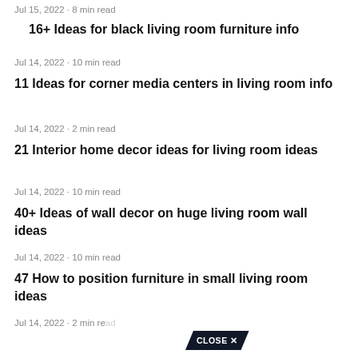Jul 15, 2022 · 8 min read
16+ Ideas for black living room furniture info
Jul 14, 2022 · 10 min read
11 Ideas for corner media centers in living room info
Jul 14, 2022 · 2 min read
21 Interior home decor ideas for living room ideas
Jul 14, 2022 · 10 min read
40+ Ideas of wall decor on huge living room wall ideas
Jul 14, 2022 · 10 min read
47 How to position furniture in small living room ideas
Jul 14, 2022 · 2 min read